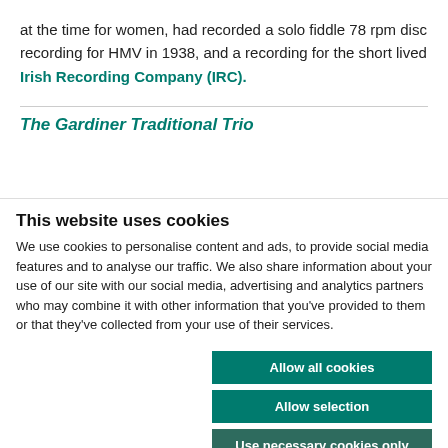at the time for women, had recorded a solo fiddle 78 rpm disc recording for HMV in 1938, and a recording for the short lived Irish Recording Company (IRC).
The Gardiner Traditional Trio
This website uses cookies
We use cookies to personalise content and ads, to provide social media features and to analyse our traffic. We also share information about your use of our site with our social media, advertising and analytics partners who may combine it with other information that you've provided to them or that they've collected from your use of their services.
Allow all cookies
Allow selection
Use necessary cookies only
Necessary  Preferences  Statistics  Marketing  Show details